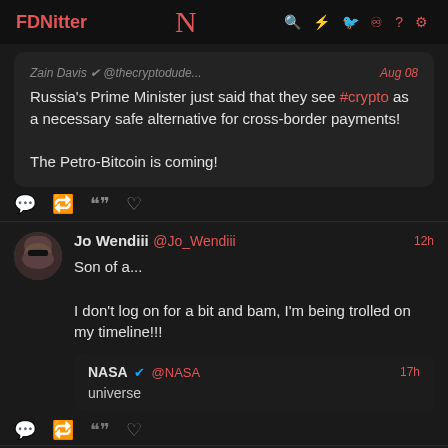FDNitter | N | icons
Russia's Prime Minister just said that they see #crypto as a necessary safe alternative for cross-border payments!

The Petro-Bitcoin is coming!
Jo Wendiii @Jo_Wendiii 12h
Son of a...

I don't log on for a bit and bam, I'm being trolled on my timeline!!!

NASA @NASA 17h
universe
Jo Wendiii @Jo_Wendiii 12h
Wait a minute! I'm spotting a trend